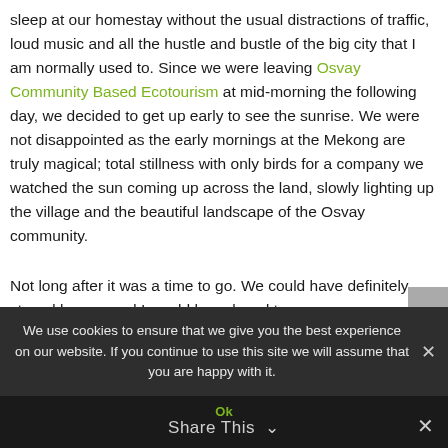sleep at our homestay without the usual distractions of traffic, loud music and all the hustle and bustle of the big city that I am normally used to. Since we were leaving Osvay Community Based Ecotourism at mid-morning the following day, we decided to get up early to see the sunrise. We were not disappointed as the early mornings at the Mekong are truly magical; total stillness with only birds for a company we watched the sun coming up across the land, slowly lighting up the village and the beautiful landscape of the Osvay community.
Not long after it was a time to go. We could have definitely stayed longer, and I would have loved to
We use cookies to ensure that we give you the best experience on our website. If you continue to use this site we will assume that you are happy with it.
Ok
Share This ✓
✕